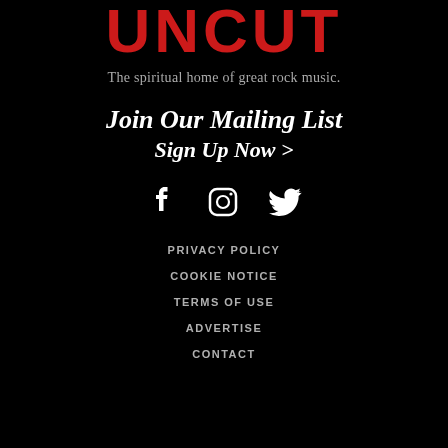UNCUT
The spiritual home of great rock music.
Join Our Mailing List
Sign Up Now >
[Figure (illustration): Social media icons: Facebook, Instagram, Twitter (white on black background)]
PRIVACY POLICY
COOKIE NOTICE
TERMS OF USE
ADVERTISE
CONTACT